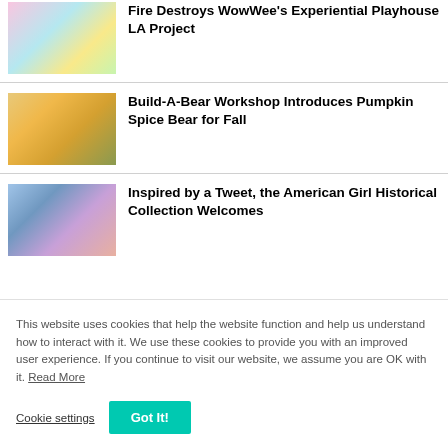[Figure (photo): WowWee colorful characters thumbnail image]
Fire Destroys WowWee's Experiential Playhouse LA Project
[Figure (photo): Build-A-Bear Workshop bear characters in autumn scene]
Build-A-Bear Workshop Introduces Pumpkin Spice Bear for Fall
[Figure (photo): American Girl historical collection dolls with a child]
Inspired by a Tweet, the American Girl Historical Collection Welcomes
This website uses cookies that help the website function and help us understand how to interact with it. We use these cookies to provide you with an improved user experience. If you continue to visit our website, we assume you are OK with it. Read More
Cookie settings  Got It!